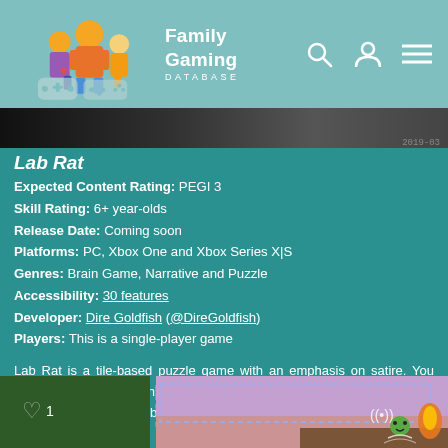Family Gaming Database
[Figure (screenshot): Top portion of a game screenshot showing dark game scene, partially cropped]
Lab Rat
Expected Content Rating: PEGI 3
Skill Rating: 6+ year-olds
Release Date: Coming soon
Platforms: PC, Xbox One and Xbox Series X|S
Genres: Brain Game, Narrative and Puzzle
Accessibility: 30 features
Developer: Dire Goldfish (@DireGoldfish)
Players: This is a single-player game
Lab Rat is a tile-based puzzle game with an emphasis on satire. You work in a machine-learning facility where you take on scenarios chosen for you by the metrics-obsessed AI that monitors, profiles, and taunts you as you progress.
[Figure (screenshot): Bottom portion showing a game screenshot with pixel art character, heart icon, fire element, and sky background]